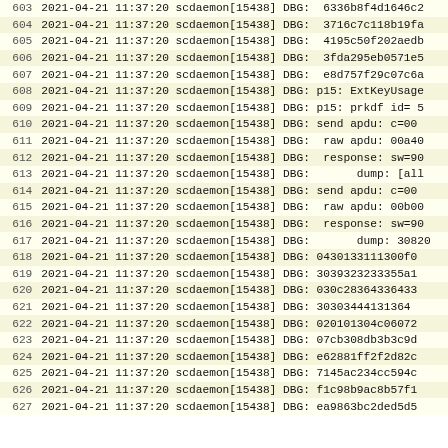| 603 | 2021-04-21 11:37:20 scdaemon[15438] DBG:  6336b8f4d1646c2 |
| 604 | 2021-04-21 11:37:20 scdaemon[15438] DBG:  3716c7c118b19fa |
| 605 | 2021-04-21 11:37:20 scdaemon[15438] DBG:  4195c50f202aedb |
| 606 | 2021-04-21 11:37:20 scdaemon[15438] DBG:  3fda295eb0571e5 |
| 607 | 2021-04-21 11:37:20 scdaemon[15438] DBG:  e8d757f29c07c6a |
| 608 | 2021-04-21 11:37:20 scdaemon[15438] DBG: p15: ExtKeyUsage |
| 609 | 2021-04-21 11:37:20 scdaemon[15438] DBG: p15: prkdf id= 5 |
| 610 | 2021-04-21 11:37:20 scdaemon[15438] DBG: send apdu: c=00 |
| 611 | 2021-04-21 11:37:20 scdaemon[15438] DBG:  raw apdu: 00a40 |
| 612 | 2021-04-21 11:37:20 scdaemon[15438] DBG:  response: sw=90 |
| 613 | 2021-04-21 11:37:20 scdaemon[15438] DBG:       dump: [all |
| 614 | 2021-04-21 11:37:20 scdaemon[15438] DBG: send apdu: c=00 |
| 615 | 2021-04-21 11:37:20 scdaemon[15438] DBG:  raw apdu: 00b00 |
| 616 | 2021-04-21 11:37:20 scdaemon[15438] DBG:  response: sw=90 |
| 617 | 2021-04-21 11:37:20 scdaemon[15438] DBG:       dump: 30820 |
| 618 | 2021-04-21 11:37:20 scdaemon[15438] DBG: 0430133111300f0 |
| 619 | 2021-04-21 11:37:20 scdaemon[15438] DBG: 3039323233355a1 |
| 620 | 2021-04-21 11:37:20 scdaemon[15438] DBG: 030c28364336433 |
| 621 | 2021-04-21 11:37:20 scdaemon[15438] DBG: 30303444131364 |
| 622 | 2021-04-21 11:37:20 scdaemon[15438] DBG: 020101304c06072 |
| 623 | 2021-04-21 11:37:20 scdaemon[15438] DBG: 07cb308db3b3c9d |
| 624 | 2021-04-21 11:37:20 scdaemon[15438] DBG: e62881ff2f2d82c |
| 625 | 2021-04-21 11:37:20 scdaemon[15438] DBG: 7145ac234cc594c |
| 626 | 2021-04-21 11:37:20 scdaemon[15438] DBG: f1c98b9ac8b57f1 |
| 627 | 2021-04-21 11:37:20 scdaemon[15438] DBG: ea9863bc2ded5d5 |